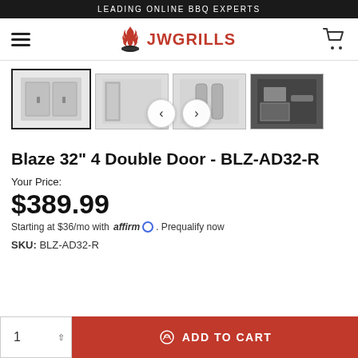LEADING ONLINE BBQ EXPERTS
[Figure (logo): JW Grills logo with flame icon and red text]
[Figure (photo): Product image gallery showing Blaze 32-inch 4 Double Door in 4 thumbnail views with navigation arrows]
Blaze 32" 4 Double Door - BLZ-AD32-R
Your Price:
$389.99
Starting at $36/mo with affirm. Prequalify now
SKU: BLZ-AD32-R
ADD TO CART